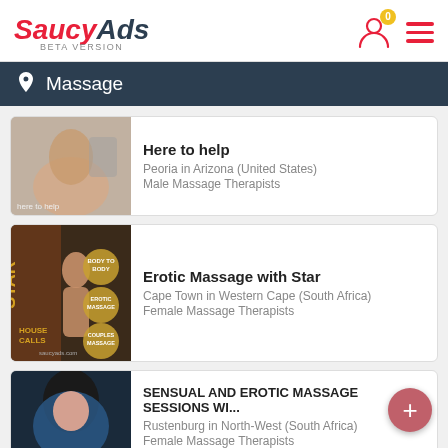SaucyAds BETA VERSION
Massage
Here to help
Peoria in Arizona (United States)
Male Massage Therapists
Erotic Massage with Star
Cape Town in Western Cape (South Africa)
Female Massage Therapists
SENSUAL AND EROTIC MASSAGE SESSIONS WI...
Rustenburg in North-West (South Africa)
Female Massage Therapists